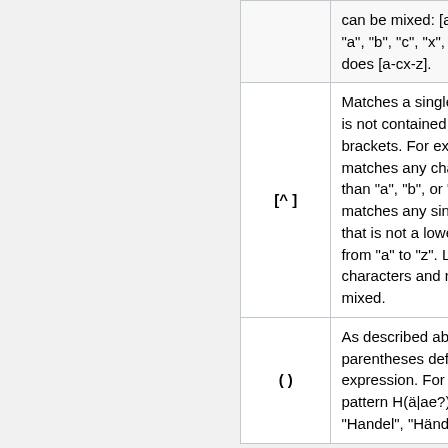| Symbol | Description |
| --- | --- |
|  | can be mixed: [abcx-z] matches "a", "b", "c", "x", "y", or "z", as does [a-cx-z]. |
| [^ ] | Matches a single character that is not contained within the brackets. For example, [^abc] matches any character other than "a", "b", or "c". [^a-z] matches any single character that is not a lowercase letter from "a" to "z". Likewise, literal characters and ranges can be mixed. |
| ( ) | As described above, parentheses define a sub-expression. For example, the pattern H(ä|ae?)ndel matches "Handel", "Händel", |